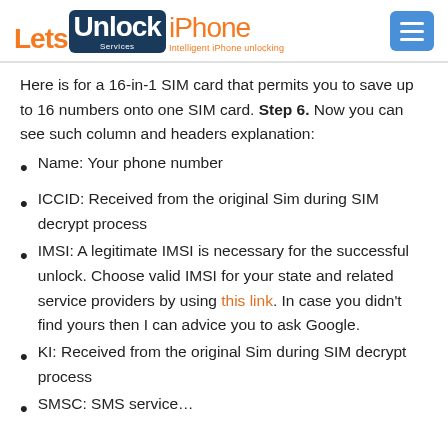LetsUnlock iPhone Services — Intelligent iPhone unlocking
Here is for a 16-in-1 SIM card that permits you to save up to 16 numbers onto one SIM card. Step 6. Now you can see such column and headers explanation:
Name: Your phone number
ICCID: Received from the original Sim during SIM decrypt process
IMSI: A legitimate IMSI is necessary for the successful unlock. Choose valid IMSI for your state and related service providers by using this link. In case you didn't find yours then I can advice you to ask Google.
KI: Received from the original Sim during SIM decrypt process
SMSC: SMS service…